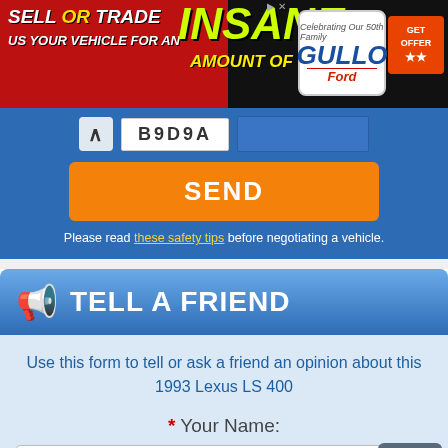[Figure (screenshot): Car dealership advertisement banner: SELL OR TRADE US YOUR VEHICLE FOR AN INSANE AMOUNT OF MONEY! with Gullo Ford logo and GET OFFER button]
B9D9A
SEND
Please read these safety tips before negotiating a vehicle.
TELL A FRIEND
Use this form to tell or ask a friend an opinion about this 1993 Lexus LS 400
* Your Name: